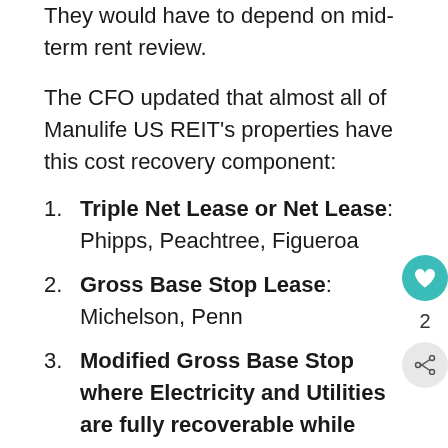They would have to depend on mid-term rent review.
The CFO updated that almost all of Manulife US REIT's properties have this cost recovery component:
Triple Net Lease or Net Lease: Phipps, Peachtree, Figueroa
Gross Base Stop Lease: Michelson, Penn
Modified Gross Base Stop where Electricity and Utilities are fully recoverable while remaining expenses are base stop: Plaza, Exchange